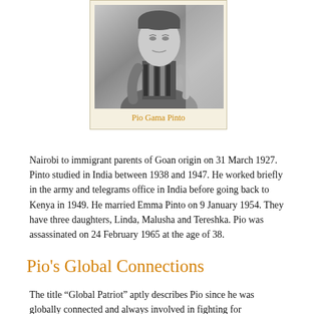[Figure (photo): Black and white historical photograph of Pio Gama Pinto, shown from upper body, wearing a striped vest or jacket]
Pio Gama Pinto
Nairobi to immigrant parents of Goan origin on 31 March 1927. Pinto studied in India between 1938 and 1947. He worked briefly in the army and telegrams office in India before going back to Kenya in 1949. He married Emma Pinto on 9 January 1954. They have three daughters, Linda, Malusha and Tereshka. Pio was assassinated on 24 February 1965 at the age of 38.
Pio's Global Connections
The title “Global Patriot” aptly describes Pio since he was globally connected and always involved in fighting for